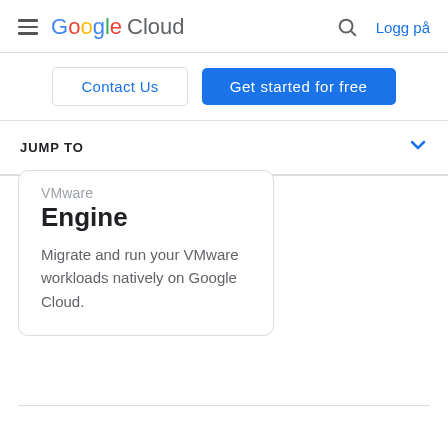Google Cloud — Logg på
Contact Us | Get started for free
JUMP TO
Engine
Migrate and run your VMware workloads natively on Google Cloud.